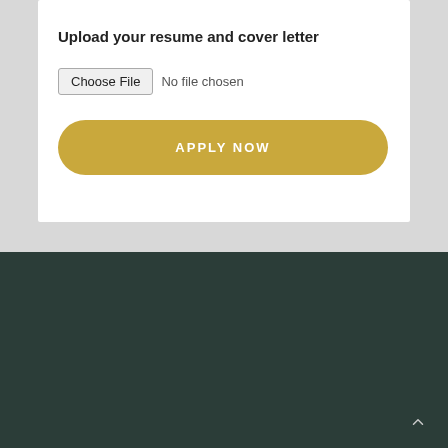Upload your resume and cover letter
Choose File  No file chosen
APPLY NOW
Copyright © 2019 AMS Publishing | Website by OSO Creative